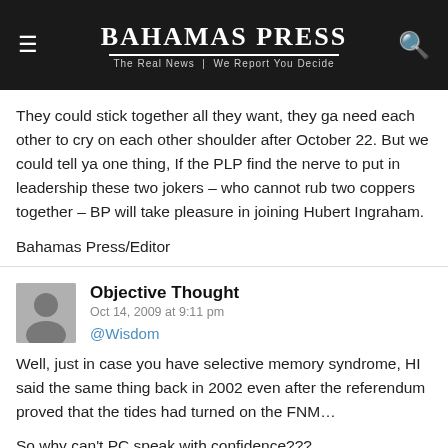BAHAMAS PRESS | The Real News | We Report You Decide
They could stick together all they want, they ga need each other to cry on each other shoulder after October 22. But we could tell ya one thing, If the PLP find the nerve to put in leadership these two jokers – who cannot rub two coppers together – BP will take pleasure in joining Hubert Ingraham.
Bahamas Press/Editor
Objective Thought
Oct 14, 2009 at 9:11 pm
@Wisdom
Well, just in case you have selective memory syndrome, HI said the same thing back in 2002 even after the referendum proved that the tides had turned on the FNM…
So why can't PC speak with confidence???